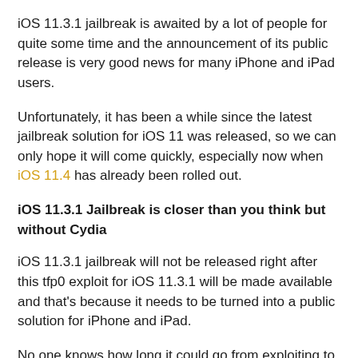iOS 11.3.1 jailbreak is awaited by a lot of people for quite some time and the announcement of its public release is very good news for many iPhone and iPad users.
Unfortunately, it has been a while since the latest jailbreak solution for iOS 11 was released, so we can only hope it will come quickly, especially now when iOS 11.4 has already been rolled out.
iOS 11.3.1 Jailbreak is closer than you think but without Cydia
iOS 11.3.1 jailbreak will not be released right after this tfp0 exploit for iOS 11.3.1 will be made available and that's because it needs to be turned into a public solution for iPhone and iPad.
No one knows how long it could go from exploiting to launching a final iOS 11.3.1 jailbreak solution, so we can only hope that everything will happen fast.